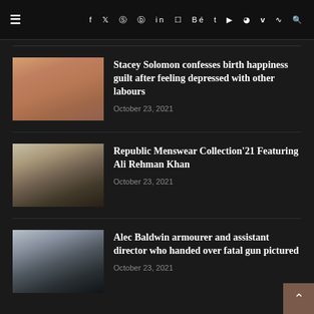≡  f t ⊕ ⊕ in ⊞ Be t ▶ ⊙ V ⊃ 🔍
Stacey Solomon confesses birth happiness guilt after feeling depressed with other labours
October 23, 2021
Republic Menswear Collection'21 Featuring Ali Rehman Khan
October 23, 2021
Alec Baldwin armourer and assistant director who handed over fatal gun pictured
October 23, 2021